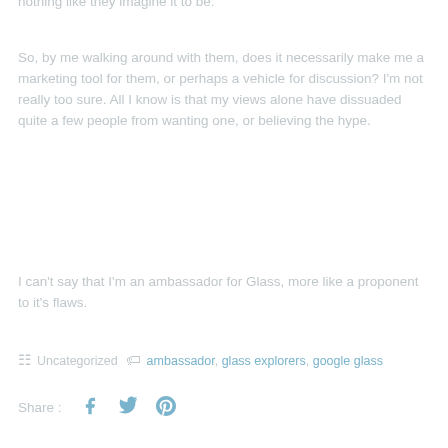nothing like they imagine it to be.
So, by me walking around with them, does it necessarily make me a marketing tool for them, or perhaps a vehicle for discussion? I'm not really too sure. All I know is that my views alone have dissuaded quite a few people from wanting one, or believing the hype.
I can't say that I'm an ambassador for Glass, more like a proponent to it's flaws.
Uncategorized  ambassador, glass explorers, google glass
Share :